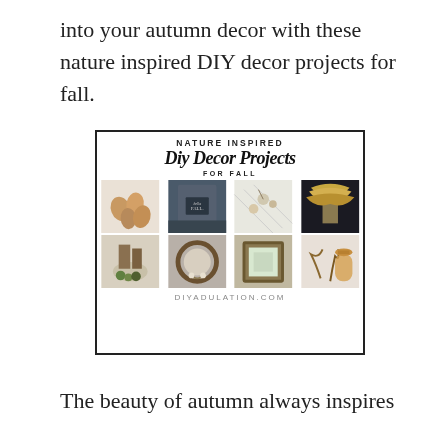into your autumn decor with these nature inspired DIY decor projects for fall.
[Figure (infographic): Nature Inspired Diy Decor Projects for Fall collage image with 8 fall decoration photos and website diyadulation.com at bottom]
The beauty of autumn always inspires